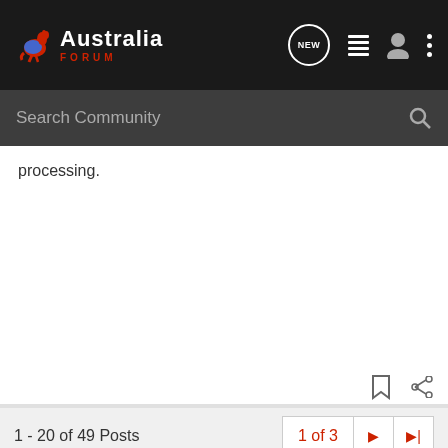Australia Forum
Search Community
processing.
1 - 20 of 49 Posts   1 of 3
Not open for further replies.
Join the discussion
Continue with Facebook